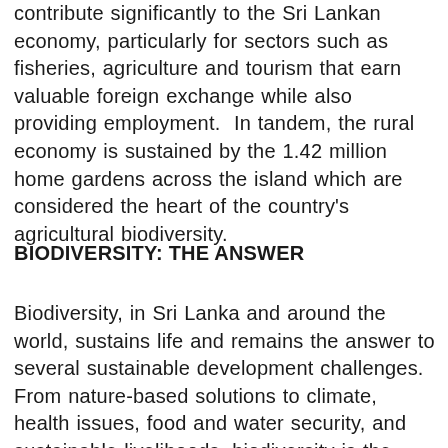contribute significantly to the Sri Lankan economy, particularly for sectors such as fisheries, agriculture and tourism that earn valuable foreign exchange while also providing employment. In tandem, the rural economy is sustained by the 1.42 million home gardens across the island which are considered the heart of the country's agricultural biodiversity.
BIODIVERSITY: THE ANSWER
Biodiversity, in Sri Lanka and around the world, sustains life and remains the answer to several sustainable development challenges. From nature-based solutions to climate, health issues, food and water security, and sustainable livelihoods, biodiversity is the foundation upon which we as a community can build forward